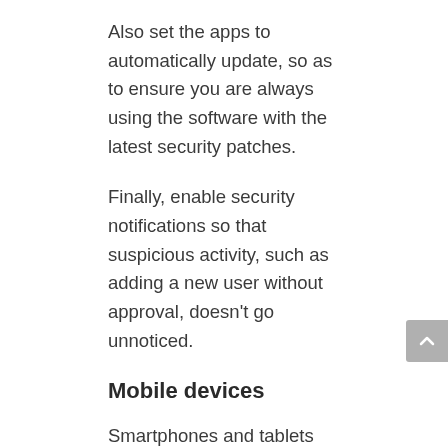Also set the apps to automatically update, so as to ensure you are always using the software with the latest security patches.
Finally, enable security notifications so that suspicious activity, such as adding a new user without approval, doesn't go unnoticed.
Mobile devices
Smartphones and tablets hold most — if not all — of your most sensitive data. Working remotely is gaining popularity, and with that comes a responsibility to learn how to treat your devices like the highly valuable possessions they are.
What you can do: Enable remote wipe and location tracking on your employees' tablets and